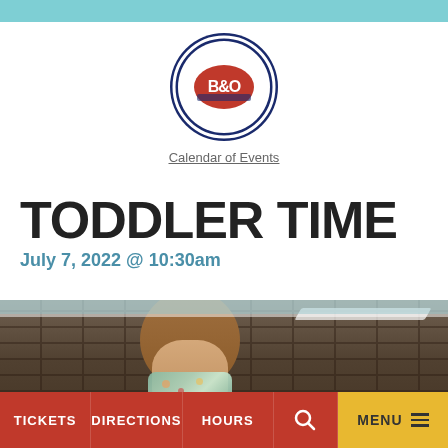[Figure (logo): B&O Railroad Museum circular logo with navy blue background, red B&O text, and train illustration]
Calendar of Events
TODDLER TIME
July 7, 2022 @ 10:30am
[Figure (photo): Person wearing a floral face mask, photographed indoors against a dark stone/brick wall background]
TICKETS   DIRECTIONS   HOURS   [search]   MENU